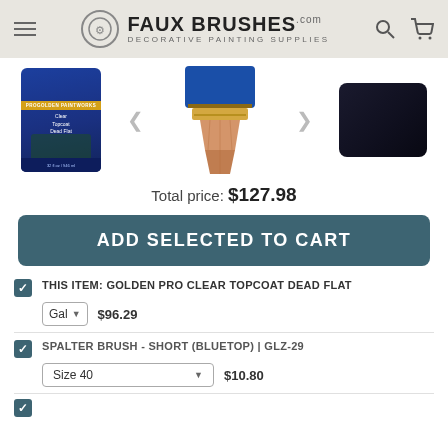FAUX BRUSHES.com — DECORATIVE PAINTING SUPPLIES
[Figure (photo): Three product images: a blue can of Golden Pro Clear Topcoat Dead Flat, a Spalter Brush with blue bristles and wooden handle, and a dark navy/black paint swatch]
Total price: $127.98
ADD SELECTED TO CART
THIS ITEM: GOLDEN PRO CLEAR TOPCOAT DEAD FLAT — Gal — $96.29
SPALTER BRUSH - SHORT (BLUETOP) | GLZ-29 — Size 40 — $10.80